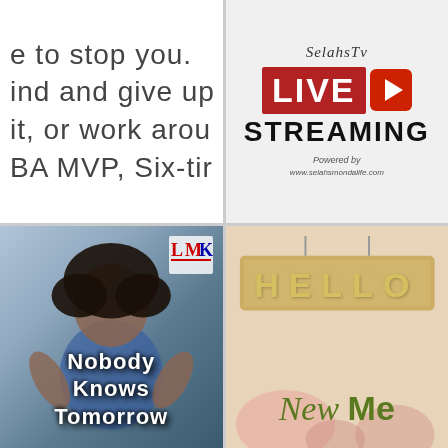[Figure (screenshot): Partial text snippet reading 'e to stop you. ind and give up it, or work arou BA MVP, Six-tir' in large gray sans-serif font on white background]
[Figure (screenshot): SelahsTV Live Streaming graphic with red LIVE banner with play button icon and bold STREAMING text, 'Powered by www.selahsmondalife.com' at bottom, on light gray background]
[Figure (photo): Photo of young Black child with large afro hair, wearing blue plaid shirt, hands raised with white bold text reading 'Nobody Knows Tomorrow' and LMK logo in top-right corner]
[Figure (photo): Photo of burlap/fabric sign reading 'HELLO' in gold glitter letters and script 'New Me' in gold olive text below, on warm tan/pink background with floral elements]